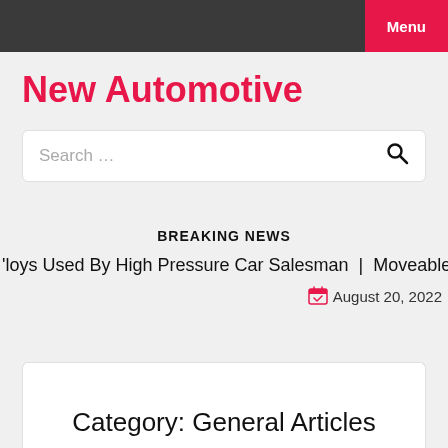Menu
New Automotive
Search …
BREAKING NEWS
'loys Used By High Pressure Car Salesman | Moveable & H
August 20, 2022
Category: General Articles